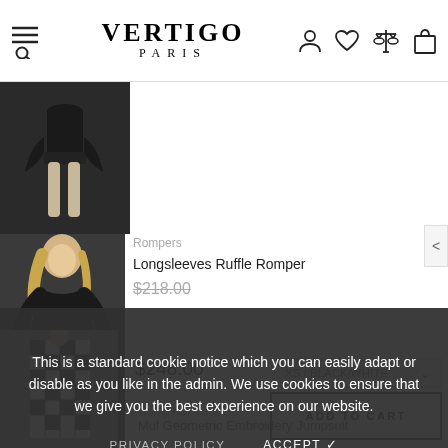Vertigo Paris — navigation header with hamburger/search, logo, and icons (user, wishlist, compare, cart)
[Figure (photo): Partial product photo of a black shorts romper/outfit on a model, cropped to show from waist down]
[Figure (photo): Product photo of a woman in a black longsleeves ruffle romper]
Rompers
Longsleeves Ruffle Romper
$218.00
This is a standard cookie notice which you can easily adapt or disable as you like in the admin. We use cookies to ensure that we give you the best experience on our website.
PRIVACY POLICY
ACCEPT ✓
Rompers
Mul Geometric Embroidery Jumpsuit
[Figure (photo): Product photo of a woman in a black and white geometric embroidery jumpsuit]
$248.00
XS / BLACK/WHITE
ADD TO CART